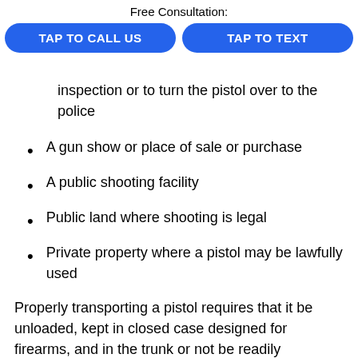Free Consultation:
TAP TO CALL US | TAP TO TEXT
inspection or to turn the pistol over to the police
A gun show or place of sale or purchase
A public shooting facility
Public land where shooting is legal
Private property where a pistol may be lawfully used
Properly transporting a pistol requires that it be unloaded, kept in closed case designed for firearms, and in the trunk or not be readily accessible to the occupants if the vehicle does not have a trunk. There is no way to “open carry”